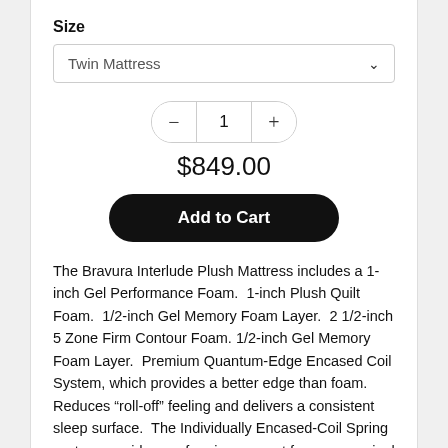Size
Twin Mattress
1
$849.00
Add to Cart
The Bravura Interlude Plush Mattress includes a 1-inch Gel Performance Foam.  1-inch Plush Quilt Foam.  1/2-inch Gel Memory Foam Layer.  2 1/2-inch 5 Zone Firm Contour Foam.  1/2-inch Gel Memory Foam Layer.  Premium Quantum-Edge Encased Coil System, which provides a better edge than foam.  Reduces "roll-off" feeling and delivers a consistent sleep surface.  The Individually Encased-Coil Spring system provides conforming support for proper spinal alignment.  Reacts and adjusts to each individual body shape and absorbs movement for